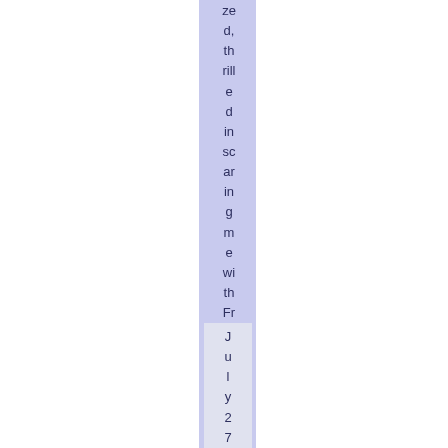zed, thrilled in scaring me with Friday [...] July 27t
July 27t